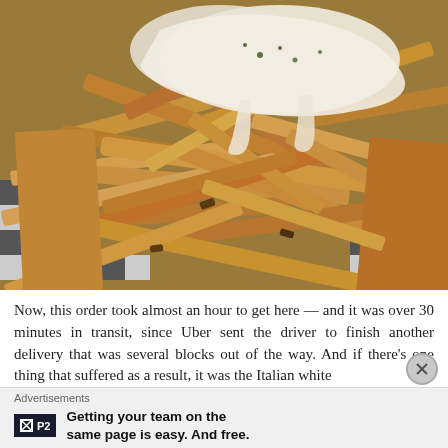[Figure (photo): Close-up photo of a pile of crispy french fries with melted white cheese on top, served in a black and white checkered paper-lined basket.]
Now, this order took almost an hour to get here — and it was over 30 minutes in transit, since Uber sent the driver to finish another delivery that was several blocks out of the way. And if there's one thing that suffered as a result, it was the Italian white [truffle fries which were a delight beyond compare to the]
Advertisements
P2  Getting your team on the same page is easy. And free.
REPORT THIS AD